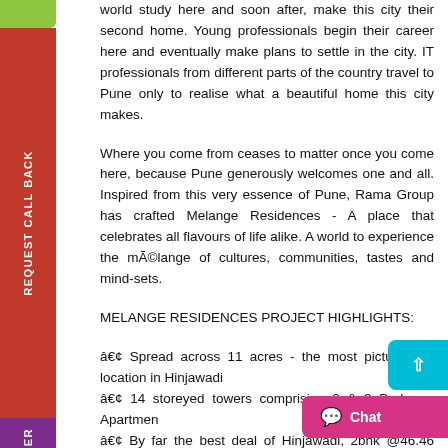world study here and soon after, make this city their second home. Young professionals begin their career here and eventually make plans to settle in the city. IT professionals from different parts of the country travel to Pune only to realise what a beautiful home this city makes.
Where you come from ceases to matter once you come here, because Pune generously welcomes one and all. Inspired from this very essence of Pune, Rama Group has crafted Melange Residences - A place that celebrates all flavours of life alike. A world to experience the mélange of cultures, communities, tastes and mind-sets.
MELANGE RESIDENCES PROJECT HIGHLIGHTS:
• Spread across 11 acres - the most picturesque location in Hinjawadi
• 14 storeyed towers comprising 2 & 3 Bedroom Apartments
• By far the best deal of Hinjawadi, 2bhk @46.46 Lakhs with No-PRE EMI till possession
• Homes overlooking scenic hills on one side and